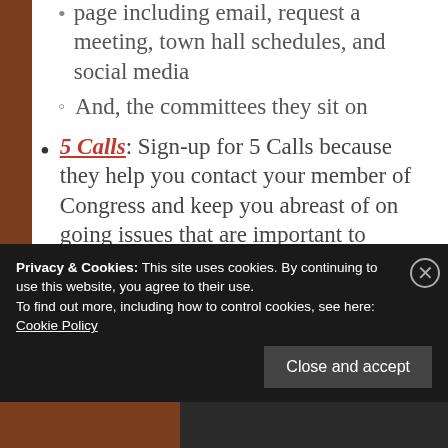Official website with their contact page including email, request a meeting, town hall schedules, and social media
And, the committees they sit on
5 Calls: Sign-up for 5 Calls because they help you contact your member of Congress and keep you abreast of on going issues that are important to...
Privacy & Cookies: This site uses cookies. By continuing to use this website, you agree to their use. To find out more, including how to control cookies, see here: Cookie Policy